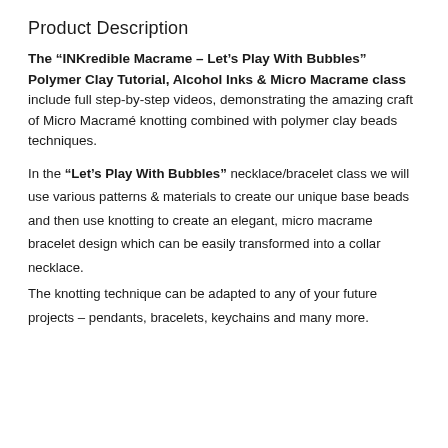Product Description
The “INKredible Macrame – Let’s Play With Bubbles” Polymer Clay Tutorial, Alcohol Inks & Micro Macrame class include full step-by-step videos, demonstrating the amazing craft of Micro Macramé knotting combined with polymer clay beads techniques.
In the “Let’s Play With Bubbles” necklace/bracelet class we will use various patterns & materials to create our unique base beads and then use knotting to create an elegant, micro macrame bracelet design which can be easily transformed into a collar necklace.
The knotting technique can be adapted to any of your future projects – pendants, bracelets, keychains and many more.